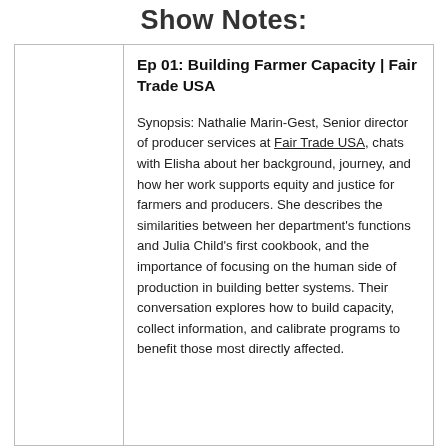Show Notes:
Ep 01: Building Farmer Capacity | Fair Trade USA
Synopsis: Nathalie Marin-Gest, Senior director of producer services at Fair Trade USA, chats with Elisha about her background, journey, and how her work supports equity and justice for farmers and producers. She describes the similarities between her department's functions and Julia Child's first cookbook, and the importance of focusing on the human side of production in building better systems. Their conversation explores how to build capacity, collect information, and calibrate programs to benefit those most directly affected.